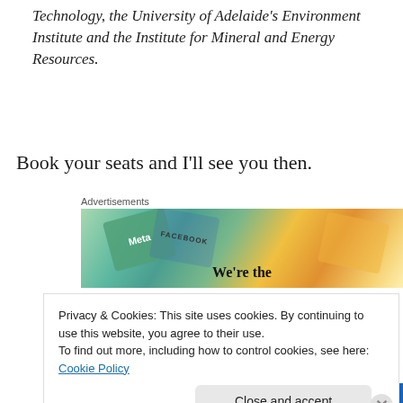Technology, the University of Adelaide's Environment Institute and the Institute for Mineral and Energy Resources.
Book your seats and I'll see you then.
Advertisements
[Figure (photo): Advertisement image showing overlapping branded cards including Meta and Facebook logos with text 'We're the']
Privacy & Cookies: This site uses cookies. By continuing to use this website, you agree to their use.
To find out more, including how to control cookies, see here: Cookie Policy
Close and accept